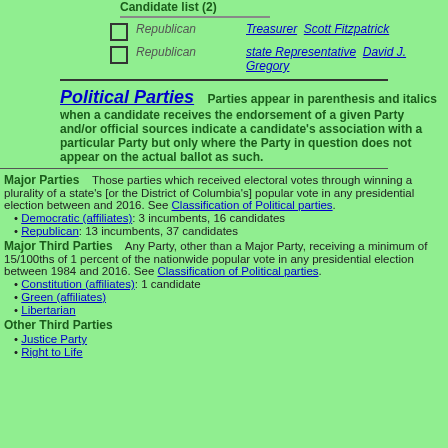Candidate list (2)
Republican — Treasurer Scott Fitzpatrick
Republican — state Representative David J. Gregory
Political Parties — Parties appear in parenthesis and italics when a candidate receives the endorsement of a given Party and/or official sources indicate a candidate's association with a particular Party but only where the Party in question does not appear on the actual ballot as such.
Major Parties   Those parties which received electoral votes through winning a plurality of a state's [or the District of Columbia's] popular vote in any presidential election between and 2016. See Classification of Political parties.
Democratic (affiliates): 3 incumbents, 16 candidates
Republican: 13 incumbents, 37 candidates
Major Third Parties   Any Party, other than a Major Party, receiving a minimum of 15/100ths of 1 percent of the nationwide popular vote in any presidential election between 1984 and 2016. See Classification of Political parties.
Constitution (affiliates): 1 candidate
Green (affiliates)
Libertarian
Other Third Parties
Justice Party
Right to Life